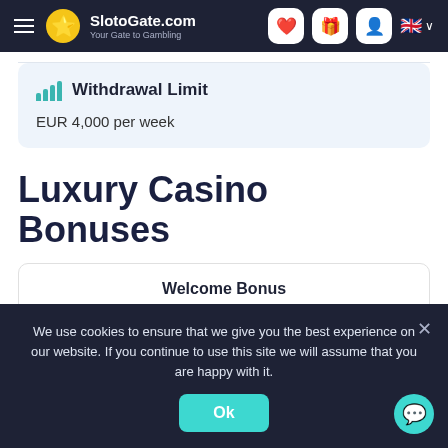SlotoGate.com — Your Gate to Gambling
Withdrawal Limit
EUR 4,000 per week
Luxury Casino Bonuses
Welcome Bonus
We use cookies to ensure that we give you the best experience on our website. If you continue to use this site we will assume that you are happy with it.